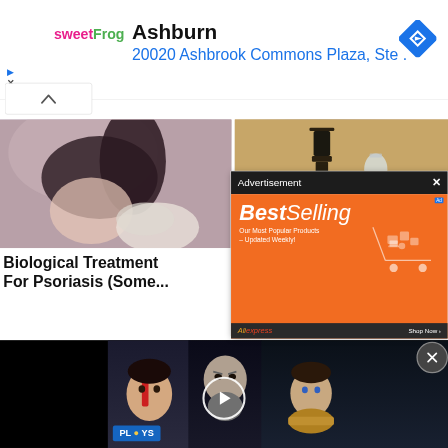[Figure (screenshot): SweetFrog advertisement banner showing Ashburn location at 20020 Ashbrook Commons Plaza with navigation diamond icon]
Ashburn
20020 Ashbrook Commons Plaza, Ste .
[Figure (photo): Photo of a woman receiving eye or face treatment from a gloved medical professional]
[Figure (photo): Photo of a dark lantern against a sandy/concrete wall background]
Biological Treatment For Psoriasis (Some...
[Figure (screenshot): Advertisement overlay with dark header saying 'Advertisement' and orange AliExpress Best Selling products ad below]
[Figure (screenshot): Video strip at bottom showing God of War game characters including a boy with red face paint, Kratos, and Atreus, with PLAYS badge and play button]